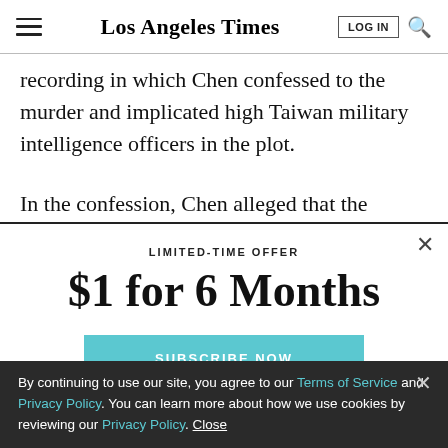Los Angeles Times
recording in which Chen confessed to the murder and implicated high Taiwan military intelligence officers in the plot.
In the confession, Chen alleged that the intelligence officers...
LIMITED-TIME OFFER
$1 for 6 Months
SUBSCRIBE NOW
By continuing to use our site, you agree to our Terms of Service and Privacy Policy. You can learn more about how we use cookies by reviewing our Privacy Policy. Close